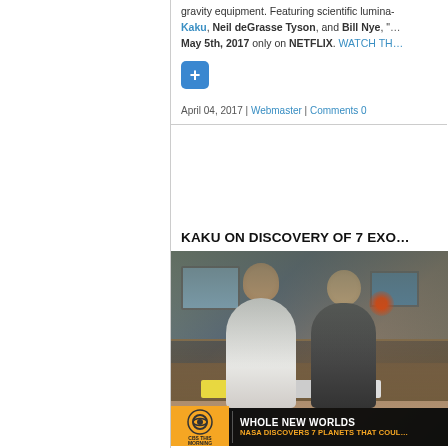gravity equipment. Featuring scientific luminaries Michio Kaku, Neil deGrasse Tyson, and Bill Nye, "…" May 5th, 2017 only on NETFLIX. WATCH TH…
April 04, 2017 | Webmaster | Comments 0
KAKU ON DISCOVERY OF 7 EXO…
[Figure (photo): CBS This Morning news studio with two anchors seated at a desk. Lower third graphic reads 'WHOLE NEW WORLDS / NASA DISCOVERS 7 PLANETS THAT COU…' with CBS This Morning logo.]